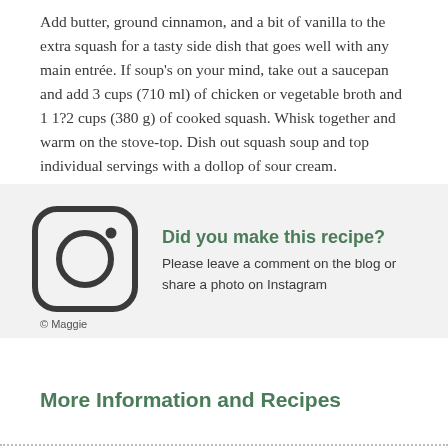Add butter, ground cinnamon, and a bit of vanilla to the extra squash for a tasty side dish that goes well with any main entrée. If soup's on your mind, take out a saucepan and add 3 cups (710 ml) of chicken or vegetable broth and 1 1?2 cups (380 g) of cooked squash. Whisk together and warm on the stove-top. Dish out squash soup and top individual servings with a dollop of sour cream.
[Figure (logo): Instagram camera icon (rounded square with circle and dot)]
Did you make this recipe?
Please leave a comment on the blog or share a photo on Instagram
© Maggie
More Information and Recipes